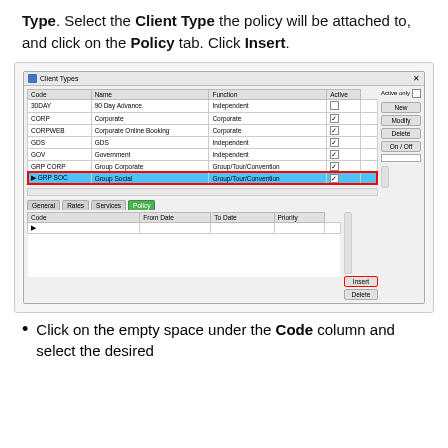Type. Select the Client Type the policy will be attached to, and click on the Policy tab. Click Insert.
[Figure (screenshot): Screenshot of a 'Client Types' dialog window showing a table of client types (30DAY, CORP, CORPWEB, GDS, GOV, GRP CORP, GRP SOC) with columns Code, Name, Function, Active. GRP SOC row is selected and highlighted in blue with a red outline. Below shows General, Rates, Services, Policy tabs with Policy tab active (green). A policy sub-table shows Code, From Date, To Date, Priority columns. An Insert button on the right sidebar is outlined in red.]
Click on the empty space under the Code column and select the desired